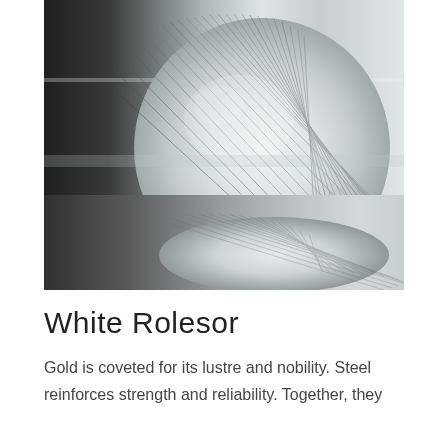[Figure (photo): Close-up photograph of two polished metallic cylindrical rods (steel or aluminum) showing cross-sectional end faces with fine linear texture marks. The rods are positioned at an angle against a grey-white background, with one rod slightly behind and below the other. The image is in greyscale tones.]
White Rolesor
Gold is coveted for its lustre and nobility. Steel reinforces strength and reliability. Together, they